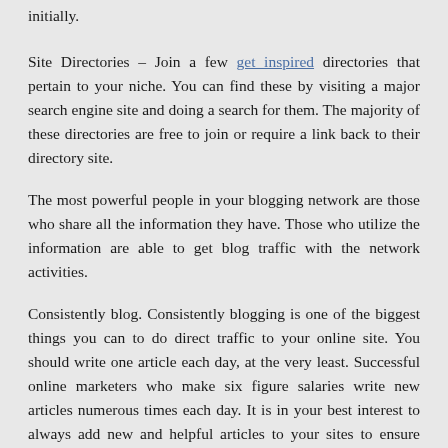initially.
Site Directories – Join a few get inspired directories that pertain to your niche. You can find these by visiting a major search engine site and doing a search for them. The majority of these directories are free to join or require a link back to their directory site.
The most powerful people in your blogging network are those who share all the information they have. Those who utilize the information are able to get blog traffic with the network activities.
Consistently blog. Consistently blogging is one of the biggest things you can to do direct traffic to your online site. You should write one article each day, at the very least. Successful online marketers who make six figure salaries write new articles numerous times each day. It is in your best interest to always add new and helpful articles to your sites to ensure viewers will return. Doing so will allow search engines to rank your website high. A